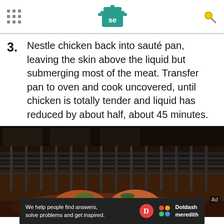SE logo header with navigation dots and search icon
3. Nestle chicken back into sauté pan, leaving the skin above the liquid but submerging most of the meat. Transfer pan to oven and cook uncovered, until chicken is totally tender and liquid has reduced by about half, about 45 minutes.
[Figure (photo): Close-up photo of a pan with braised chicken being placed into an oven, with oven rack visible in foreground and chicken with herbs visible in pan below.]
We help people find answers, solve problems and get inspired. Dotdash meredith